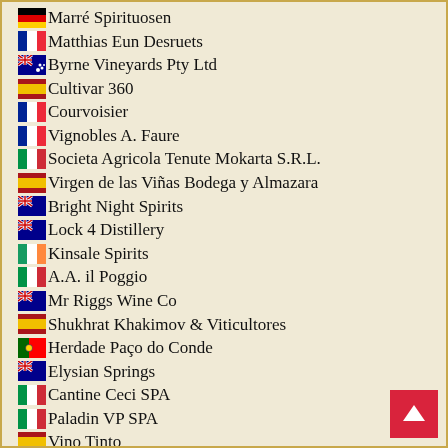Marré Spirituosen
Matthias Eun Desruets
Byrne Vineyards Pty Ltd
Cultivar 360
Courvoisier
Vignobles A. Faure
Societa Agricola Tenute Mokarta S.R.L.
Virgen de las Viñas Bodega y Almazara
Bright Night Spirits
Lock 4 Distillery
Kinsale Spirits
A.A. il Poggio
Mr Riggs Wine Co
Shukhrat Khakimov & Viticultores
Herdade Paço do Conde
Elysian Springs
Cantine Ceci SPA
Paladin VP SPA
Vino Tinto
Alexandrion Saber Distilleries 1789